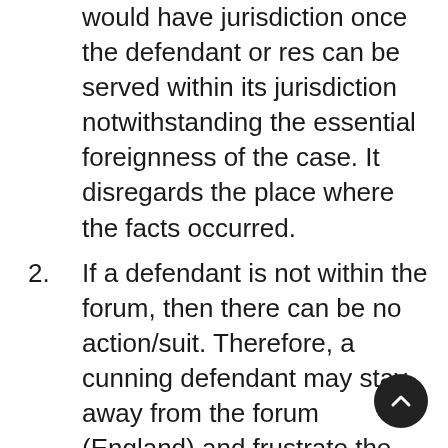would have jurisdiction once the defendant or res can be served within its jurisdiction notwithstanding the essential foreignness of the case. It disregards the place where the facts occurred.
2. If a defendant is not within the forum, then there can be no action/suit. Therefore, a cunning defendant may stay away from the forum (England) and frustrate the action by avoiding service.
3. English text writers have described it as closer akin to ...than the in juction. McMinn...